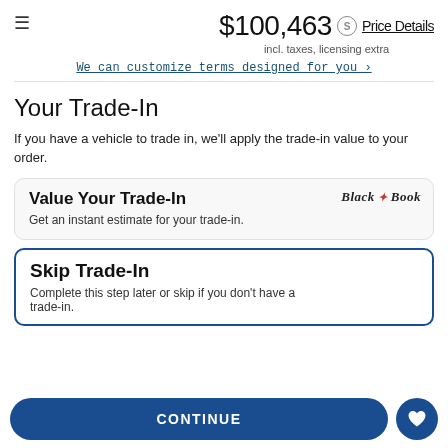$100,463 incl. taxes, licensing extra
We can customize terms designed for you ›
Your Trade-In
If you have a vehicle to trade in, we'll apply the trade-in value to your order.
Value Your Trade-In
Get an instant estimate for your trade-in.
Skip Trade-In
Complete this step later or skip if you don't have a trade-in.
CONTINUE